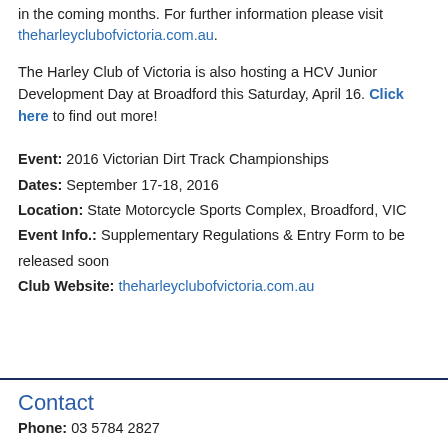in the coming months. For further information please visit theharleyclubofvictoria.com.au.
The Harley Club of Victoria is also hosting a HCV Junior Development Day at Broadford this Saturday, April 16. Click here to find out more!
Event: 2016 Victorian Dirt Track Championships
Dates: September 17-18, 2016
Location: State Motorcycle Sports Complex, Broadford, VIC
Event Info.: Supplementary Regulations & Entry Form to be released soon
Club Website: theharleyclubofvictoria.com.au
Contact
Phone: 03 5784 2827